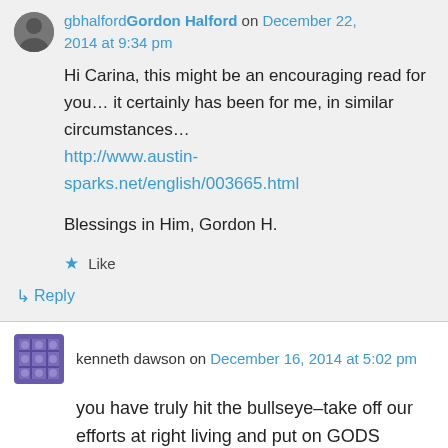gbhalfordGordon Halford on December 22, 2014 at 9:34 pm
Hi Carina, this might be an encouraging read for you… it certainly has been for me, in similar circumstances… http://www.austin-sparks.net/english/003665.html

Blessings in Him, Gordon H.
★ Like
↳ Reply
kenneth dawson on December 16, 2014 at 5:02 pm
you have truly hit the bullseye–take off our efforts at right living and put on GODS efforts of